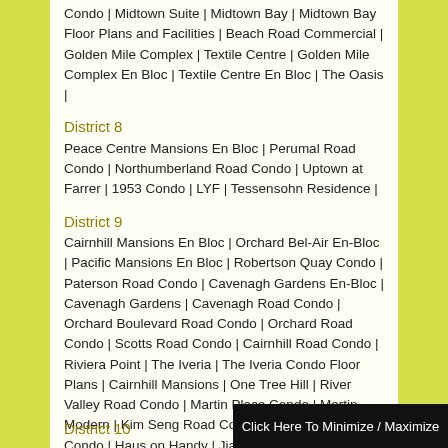Condo | Midtown Suite | Midtown Bay | Midtown Bay Floor Plans and Facilities | Beach Road Commercial | Golden Mile Complex | Textile Centre | Golden Mile Complex En Bloc | Textile Centre En Bloc | The Oasis |
District 8
Peace Centre Mansions En Bloc | Perumal Road Condo | Northumberland Road Condo | Uptown at Farrer | 1953 Condo | LYF | Tessensohn Residence |
District 9
Cairnhill Mansions En Bloc | Orchard Bel-Air En-Bloc | Pacific Mansions En Bloc | Robertson Quay Condo | Paterson Road Condo | Cavenagh Gardens En-Bloc | Cavenagh Gardens | Cavenagh Road Condo | Orchard Boulevard Road Condo | Orchard Road Condo | Scotts Road Condo | Cairnhill Road Condo | Riviera Point | The Iveria | The Iveria Condo Floor Plans | Cairnhill Mansions | One Tree Hill | River Valley Road Condo | Martin Place Condo | Martin Modern | Kim Seng Road Condo | Handy Road Condo | Haus on Handy | Jiak Kim Street Condo | Riviere Condo | Fraser Residence Promenade | Avenir Condo | Pacific Mansions | Great World MRT Station Condo | Martin Place Residences | The Rise at Oxley Residences | Orchard Paterson Cairnhill Road Condo | Core Central Region Condo | Robertson Quay Condo | Paterson Collection | St Thomas Walk | Leonie Hill Road Condo | Horizon Towers | Leonie Gardens | New Futura | Cairnhill Nine | 3 Orchard by the Park | Twin Peaks |
District 10
Click Here To Minimize / Maximize